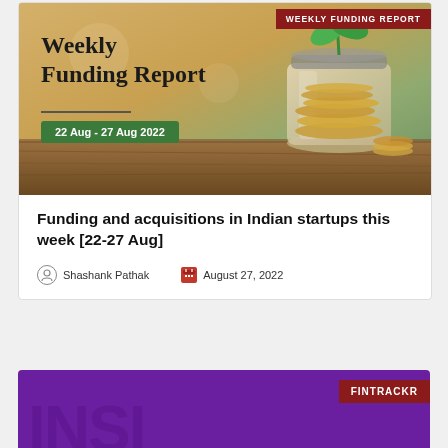WEEKLY FUNDING REPORT
Weekly Funding Report
22 Aug - 27 Aug 2022
[Figure (photo): Jar filled with coins with a green plant sprouting from it, placed on a wooden table surface with a blurred outdoor background — representing investment/savings growth]
Funding and acquisitions in Indian startups this week [22-27 Aug]
Shashank Pathak
August 27, 2022
[Figure (logo): FINTRACKR logo on a purple background with large watermark text]